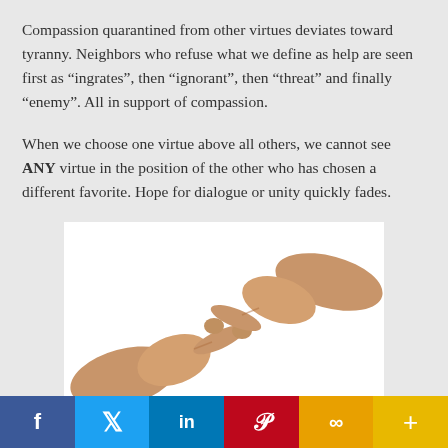Compassion quarantined from other virtues deviates toward tyranny. Neighbors who refuse what we define as help are seen first as “ingrates”, then “ignorant”, then “threat” and finally “enemy”. All in support of compassion.
When we choose one virtue above all others, we cannot see ANY virtue in the position of the other who has chosen a different favorite. Hope for dialogue or unity quickly fades.
[Figure (photo): Two hands from opposite sides pointing index fingers toward each other against a white background]
Hearing your own propaganda from the “enemy”?
f  Twitter  in  Pinterest  link  +